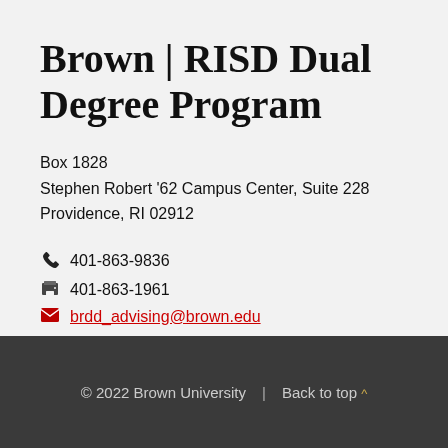Brown | RISD Dual Degree Program
Box 1828
Stephen Robert '62 Campus Center, Suite 228
Providence, RI 02912
401-863-9836
401-863-1961
brdd_advising@brown.edu
© 2022 Brown University | Back to top ^